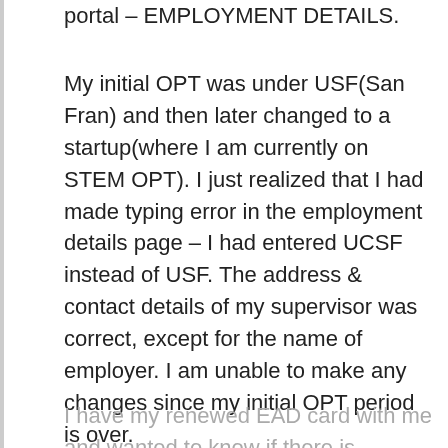portal – EMPLOYMENT DETAILS.
My initial OPT was under USF(San Fran) and then later changed to a startup(where I am currently on STEM OPT). I just realized that I had made typing error in the employment details page – I had entered UCSF instead of USF. The address & contact details of my supervisor was correct, except for the name of employer. I am unable to make any changes since my initial OPT period is over.
I have my renewed EAD card with me and wanted to know if there is anyway to